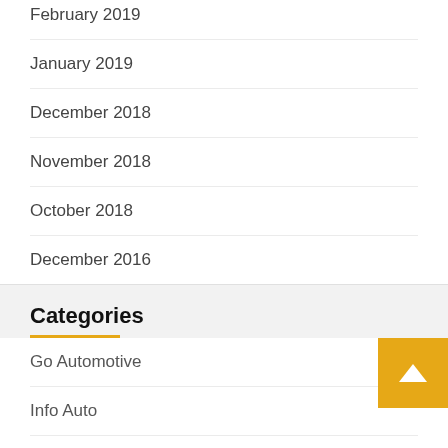February 2019
January 2019
December 2018
November 2018
October 2018
December 2016
Categories
Go Automotive
Info Auto
Motor Industry News
Nissan News
Rushlane Royal